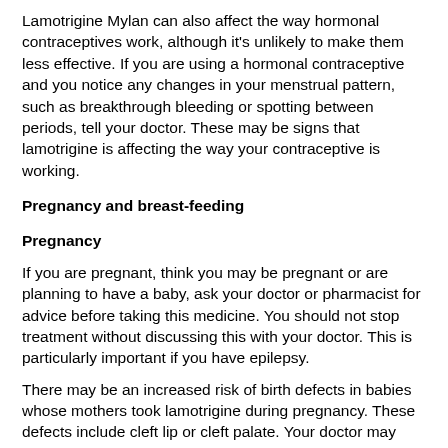Lamotrigine Mylan can also affect the way hormonal contraceptives work, although it's unlikely to make them less effective. If you are using a hormonal contraceptive and you notice any changes in your menstrual pattern, such as breakthrough bleeding or spotting between periods, tell your doctor. These may be signs that lamotrigine is affecting the way your contraceptive is working.
Pregnancy and breast-feeding
Pregnancy
If you are pregnant, think you may be pregnant or are planning to have a baby, ask your doctor or pharmacist for advice before taking this medicine. You should not stop treatment without discussing this with your doctor. This is particularly important if you have epilepsy.
There may be an increased risk of birth defects in babies whose mothers took lamotrigine during pregnancy. These defects include cleft lip or cleft palate. Your doctor may advise you to take extra folic acid if you are planning to become pregnant and while you are pregnant.
Pregnancy may also alter the effectiveness of lamotrigine